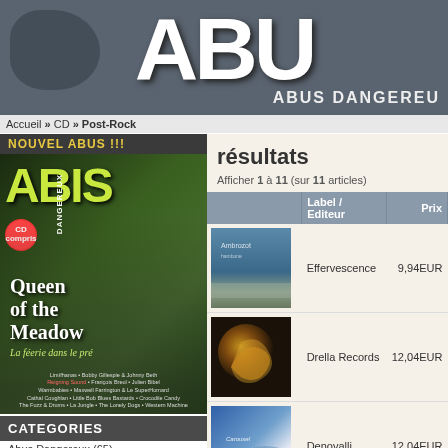[Figure (screenshot): Abus Dangereux website header with large ABU letters on grey background]
Accueil » CD » Post-Rock
NOUVEL ABUS !!!
[Figure (photo): Magazine cover of Abus Dangereux featuring Queen of the Meadow with two people]
CATEGORIES
Abus Dangereux (65)
résultats
Afficher 1 à 11 (sur 11 articles)
|  | Label / Editeur | Prix |
| --- | --- | --- |
| [album image] | Effervescence | 9,94EUR |
| [album image] | Drella Records | 12,04EUR |
| [album image] | Denovalli | 12,04EUR |